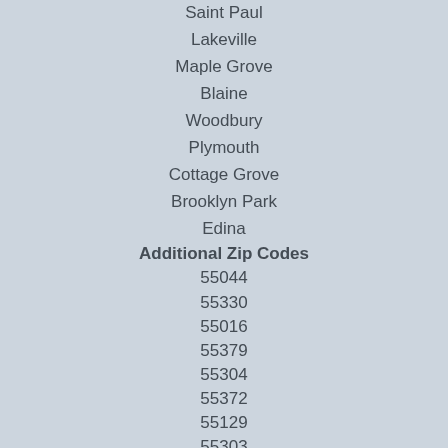Saint Paul
Lakeville
Maple Grove
Blaine
Woodbury
Plymouth
Cottage Grove
Brooklyn Park
Edina
Additional Zip Codes
55044
55330
55016
55379
55304
55372
55129
55303
55449
55311
Additional Listings